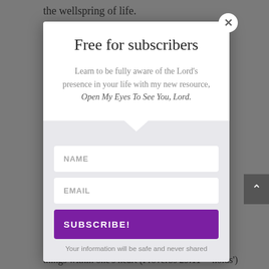the wellspring of life.
[Figure (screenshot): A modal popup dialog for a newsletter subscription. Contains a close (×) button, title 'Free for subscribers', descriptive text about a resource called 'Open My Eyes To See You, Lord.', input fields for NAME and EMAIL, a purple SUBSCRIBE! button, and a privacy note 'Your information will be safe and never shared'.]
things within one's heart (Proverbs 29:11 – 'holds')